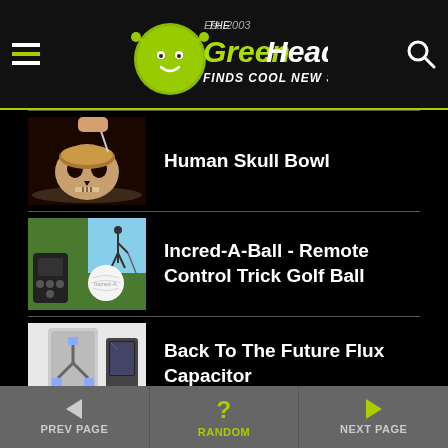The Green Head - Finds Cool New Stuff!
[Figure (photo): Human skull-shaped bowl filled with cereal, person holding spoon above it]
Human Skull Bowl
[Figure (photo): Incred-A-Ball remote control trick golf ball with remote and golfer in background]
Incred-A-Ball - Remote Control Trick Golf Ball
[Figure (photo): Back To The Future Flux Capacitor product]
Back To The Future Flux Capacitor
PREV PAGE | RANDOM | NEXT PAGE